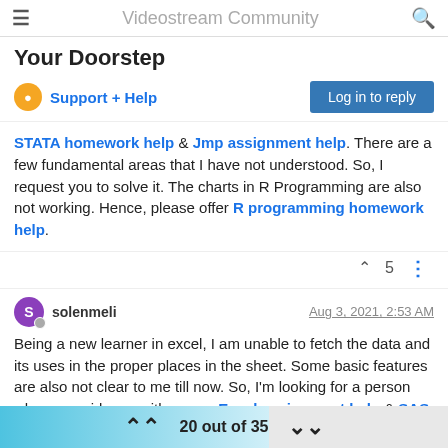Videostream Community
Your Doorstep
Support + Help
Log in to reply
STATA homework help & Jmp assignment help. There are a few fundamental areas that I have not understood. So, I request you to solve it. The charts in R Programming are also not working. Hence, please offer R programming homework help.
^ 5 ⋮
solenmeli  Aug 3, 2021, 2:53 AM
Being a new learner in excel, I am unable to fetch the data and its uses in the proper places in the sheet. Some basic features are also not clear to me till now. So, I'm looking for a person who can guide me with proper Excel assignment help & SAS assignment help. Is there any way to get Econometrics homework help at
20 out of 35